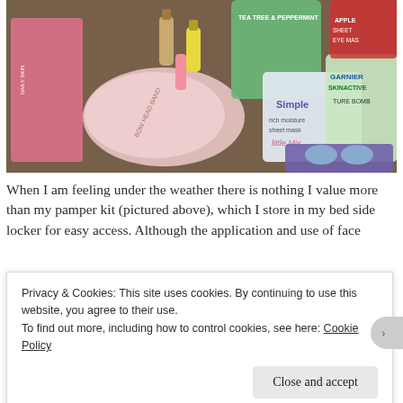[Figure (photo): Flat lay photo of beauty/pamper products on a wooden surface including a pink fluffy headband, nail polishes, Simple rich moisture sheet mask Little Mix edition, Garnier SkinActive Moisture Bomb mask, Apple Sheet Eye Mask, and Tea Tree & Peppermint product.]
When I am feeling under the weather there is nothing I value more than my pamper kit (pictured above), which I store in my bed side locker for easy access. Although the application and use of face
Privacy & Cookies: This site uses cookies. By continuing to use this website, you agree to their use.
To find out more, including how to control cookies, see here: Cookie Policy
Close and accept